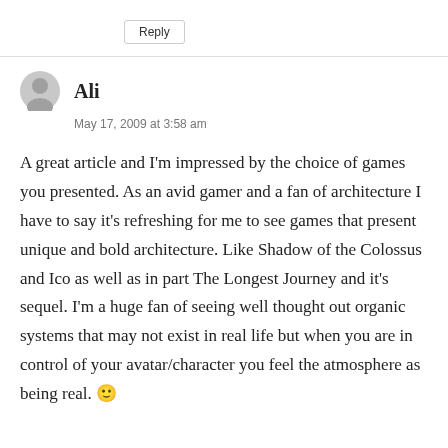Reply
Ali
May 17, 2009 at 3:58 am
A great article and I'm impressed by the choice of games you presented. As an avid gamer and a fan of architecture I have to say it's refreshing for me to see games that present unique and bold architecture. Like Shadow of the Colossus and Ico as well as in part The Longest Journey and it's sequel. I'm a huge fan of seeing well thought out organic systems that may not exist in real life but when you are in control of your avatar/character you feel the atmosphere as being real. 🙂